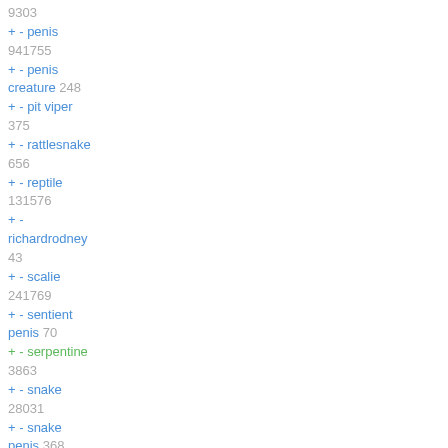9303
+ - penis 941755
+ - penis creature 248
+ - pit viper 375
+ - rattlesnake 656
+ - reptile 131576
+ - richardrodney 43
+ - scalie 241769
+ - sentient penis 70
+ - serpentine 3863
+ - snake 28031
+ - snake penis 368
+ - taur 11445
+ - testicle bulge 6
+ - trio 12606
+ - unusual anatomy 2335